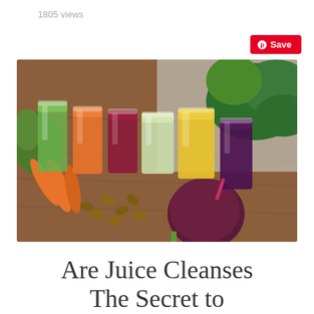1805 views
[Figure (other): Save button with Pinterest logo icon, red background]
[Figure (photo): Colorful vegetable juices in glasses arranged in a row on a wooden table, surrounded by fresh vegetables including carrots, kale, beets, and nuts]
Are Juice Cleanses The Secret to